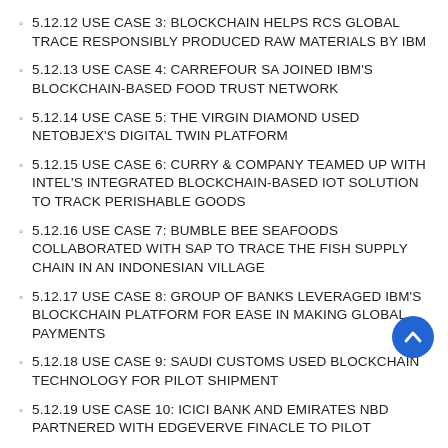5.12.12 USE CASE 3: BLOCKCHAIN HELPS RCS GLOBAL TRACE RESPONSIBLY PRODUCED RAW MATERIALS BY IBM
5.12.13 USE CASE 4: CARREFOUR SA JOINED IBM'S BLOCKCHAIN-BASED FOOD TRUST NETWORK
5.12.14 USE CASE 5: THE VIRGIN DIAMOND USED NETOBJEX'S DIGITAL TWIN PLATFORM
5.12.15 USE CASE 6: CURRY & COMPANY TEAMED UP WITH INTEL'S INTEGRATED BLOCKCHAIN-BASED IOT SOLUTION TO TRACK PERISHABLE GOODS
5.12.16 USE CASE 7: BUMBLE BEE SEAFOODS COLLABORATED WITH SAP TO TRACE THE FISH SUPPLY CHAIN IN AN INDONESIAN VILLAGE
5.12.17 USE CASE 8: GROUP OF BANKS LEVERAGED IBM'S BLOCKCHAIN PLATFORM FOR EASE IN MAKING GLOBAL PAYMENTS
5.12.18 USE CASE 9: SAUDI CUSTOMS USED BLOCKCHAIN TECHNOLOGY FOR PILOT SHIPMENT
5.12.19 USE CASE 10: ICICI BANK AND EMIRATES NBD PARTNERED WITH EDGEVERVE FINACLE TO PILOT